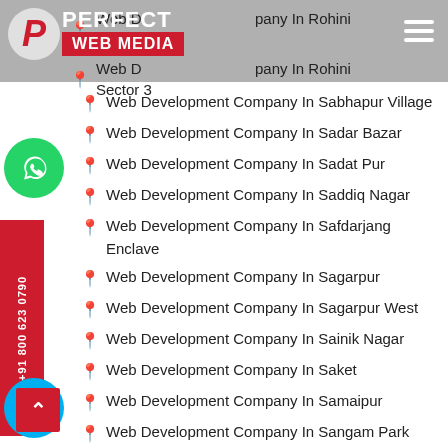[Figure (logo): Perfect Web Media logo with red circle P and red WEB MEDIA banner]
Web Development Company In Rohini Institutiona
Web Development Company In Rohini Sector 3
Web Development Company In Sabhapur Village
Web Development Company In Sadar Bazar
Web Development Company In Sadat Pur
Web Development Company In Saddiq Nagar
Web Development Company In Safdarjang Enclave
Web Development Company In Sagarpur
Web Development Company In Sagarpur West
Web Development Company In Sainik Nagar
Web Development Company In Saket
Web Development Company In Samaipur
Web Development Company In Sangam Park
Web Development Company In Sanjay Colony
Web Development Company In Sanjay Gandhi Transport Nagar
Web Development Company In Sanjay Nagar